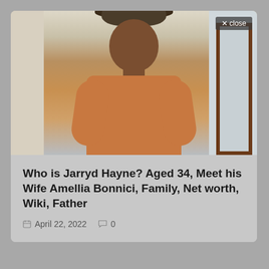[Figure (photo): A man wearing a brown wide-brim hat and an orange t-shirt, standing indoors in front of a doorway with a light-colored wall and white curtains to the left.]
Who is Jarryd Hayne? Aged 34, Meet his Wife Amellia Bonnici, Family, Net worth, Wiki, Father
April 22, 2022   0